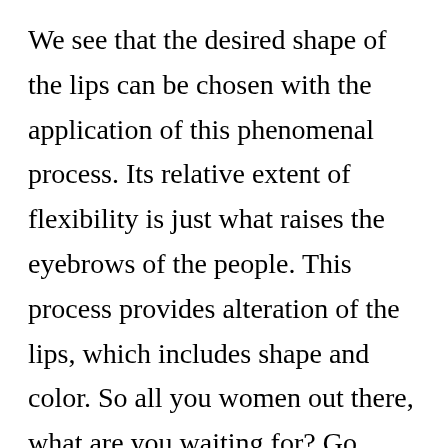We see that the desired shape of the lips can be chosen with the application of this phenomenal process. Its relative extent of flexibility is just what raises the eyebrows of the people. This process provides alteration of the lips, which includes shape and color. So all you women out there, what are you waiting for? Go through these above mentioned peculiar stuffs about lip embroidery and start adopting this as soon as possible. It has been a marvelous revolution in this very busy world.